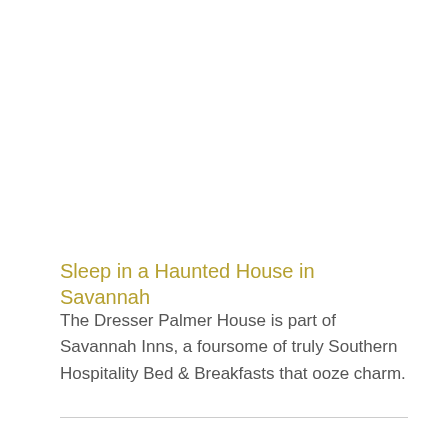Sleep in a Haunted House in Savannah
The Dresser Palmer House is part of Savannah Inns, a foursome of truly Southern Hospitality Bed & Breakfasts that ooze charm.